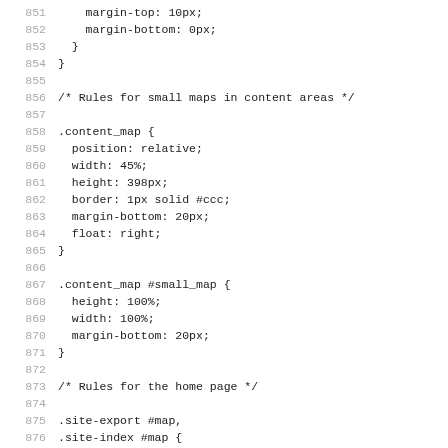851  margin-top: 10px;
852    margin-bottom: 0px;
853  }
854 }
855 
856 /* Rules for small maps in content areas */
857 
858 .content_map {
859   position: relative;
860   width: 45%;
861   height: 398px;
862   border: 1px solid #ccc;
863   margin-bottom: 20px;
864   float: right;
865 }
866 
867 .content_map #small_map {
868   height: 100%;
869   width: 100%;
870   margin-bottom: 20px;
871 }
872 
873 /* Rules for the home page */
874 
875 .site-export #map,
876 .site-index #map {
877   position: absolute;
878   top: 0px;
879   bottom: 0px;
880   left: 0px;
881   right: 0px;
882 }
883